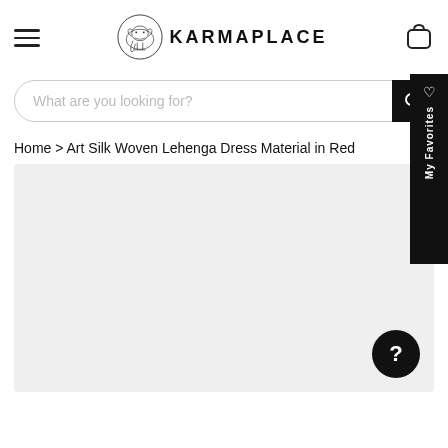KARMAPLACE
What are you looking for?
Home > Art Silk Woven Lehenga Dress Material in Red
[Figure (photo): Light grey product image placeholder area with a help/question mark button in the bottom right corner]